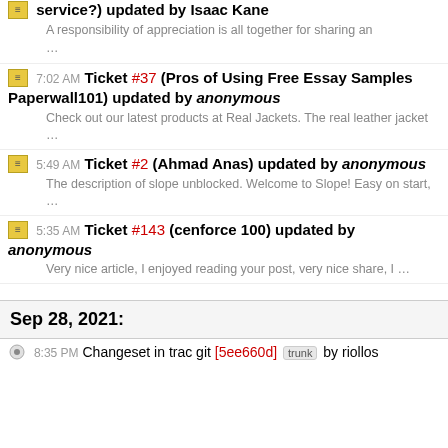service?) updated by Isaac Kane
A responsibility of appreciation is all together for sharing an …
7:02 AM Ticket #37 (Pros of Using Free Essay Samples Paperwall101) updated by anonymous
Check out our latest products at Real Jackets. The real leather jacket …
5:49 AM Ticket #2 (Ahmad Anas) updated by anonymous
The description of slope unblocked. Welcome to Slope! Easy on start, …
5:35 AM Ticket #143 (cenforce 100) updated by anonymous
Very nice article, I enjoyed reading your post, very nice share, I …
Sep 28, 2021:
8:35 PM Changeset in trac git [5ee660d] trunk by riollos